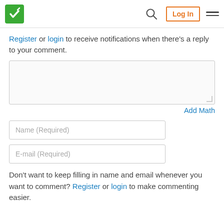SketchAndCalc logo | Search | Log In | Menu
Register or login to receive notifications when there's a reply to your comment.
[Figure (screenshot): Comment text area input box]
Add Math
[Figure (screenshot): Name (Required) input field]
[Figure (screenshot): E-mail (Required) input field]
Don't want to keep filling in name and email whenever you want to comment? Register or login to make commenting easier.